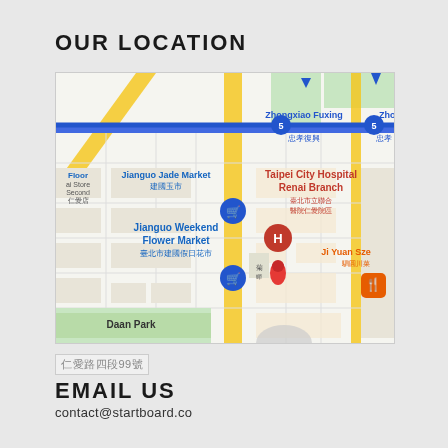OUR LOCATION
[Figure (map): Google Maps view showing Jianguo Weekend Flower Market, Jianguo Jade Market, Taipei City Hospital Renai Branch, Daan Park, Zhongxiao Fuxing and Zhongxiao Dunhua metro stations in Taipei, Taiwan]
仁愛路四段99號
EMAIL US
contact@startboard.co